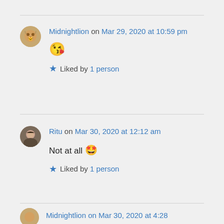Midnightlion on Mar 29, 2020 at 10:59 pm
😘
★ Liked by 1 person
Ritu on Mar 30, 2020 at 12:12 am
Not at all 🤩
★ Liked by 1 person
Midnightlion on Mar 30, 2020 at 4:28